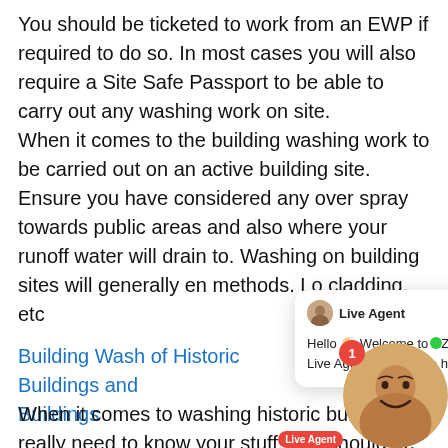You should be ticketed to work from an EWP if required to do so. In most cases you will also require a Site Safe Passport to be able to carry out any washing work on site. When it comes to the building washing work to be carried out on an active building site. Ensure you have considered any over spray towards public areas and also where your runoff water will drain to. Washing on building sites will generally en... methods. Lo... cladding, etc...
[Figure (screenshot): Live chat popup overlay showing a Live Agent with avatar, title 'Live Agent', close button (x), and message: 'Hello 👋 Welcome to NZTS. I'm a Live Agent available to help.']
Building Wash of Historic Buildings and ... Buildings
When it comes to washing historic building... really need to know your stuff. You should be an...
[Figure (photo): Live Agent chat bubble in bottom-right corner showing a smiling man's face, a red notification badge with number 1, a green online indicator dot, and a red 'Live Agent' label.]